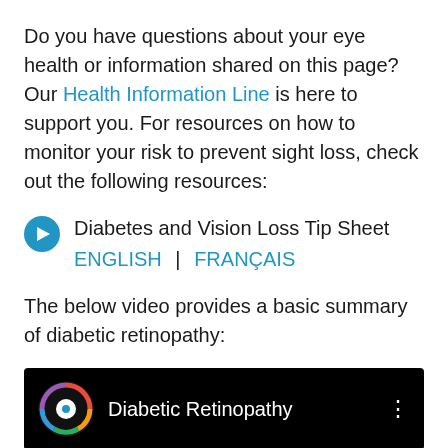Do you have questions about your eye health or information shared on this page? Our Health Information Line is here to support you. For resources on how to monitor your risk to prevent sight loss, check out the following resources:
Diabetes and Vision Loss Tip Sheet
ENGLISH | FRANÇAIS
The below video provides a basic summary of diabetic retinopathy:
[Figure (screenshot): Video thumbnail with black background showing a colorful circular logo and the title 'Diabetic Retinopathy' in white text, with a three-dot menu icon on the right.]